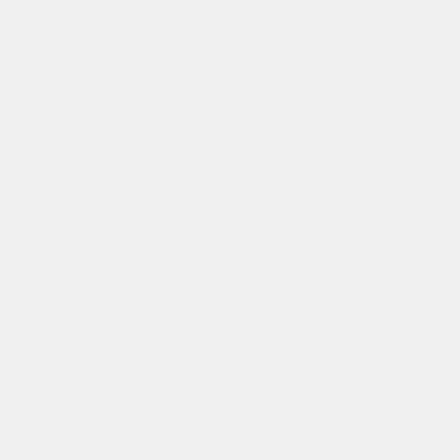+ page: [[Private: Test Private Page]]
+ test of link to private wiki: [[privatewiki:Mark's Sandbox]]
+
+ <table><tr><td>a<td>b<tr><td>c<td>d</table>
+
+ <html><iframe src="https://calendar.google.com/calendar/embed?height=300&amp;wkst=1&amp;bgcolor=%23FFFFFF&amp;src=503o985nbesua43smquc510o8k%40group.calend